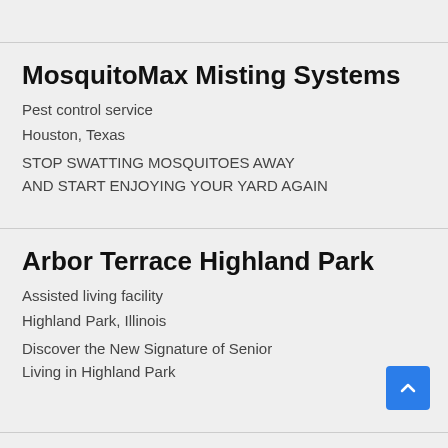MosquitoMax Misting Systems
Pest control service
Houston, Texas
STOP SWATTING MOSQUITOES AWAY AND START ENJOYING YOUR YARD AGAIN
Arbor Terrace Highland Park
Assisted living facility
Highland Park, Illinois
Discover the New Signature of Senior Living in Highland Park